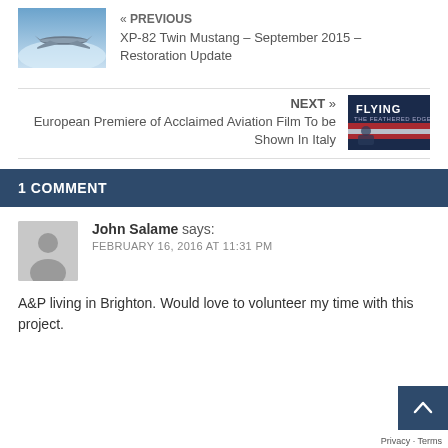[Figure (photo): Small thumbnail of a vintage aircraft (XP-82 Twin Mustang) flying against a blue sky]
« PREVIOUS
XP-82 Twin Mustang – September 2015 – Restoration Update
NEXT »
European Premiere of Acclaimed Aviation Film To be Shown In Italy
[Figure (photo): Thumbnail for Flying Feathered Edge aviation film poster showing pilot and flag]
1 COMMENT
[Figure (illustration): Generic user avatar placeholder silhouette in gray]
John Salame says:
FEBRUARY 16, 2016 AT 11:31 PM
A&P living in Brighton. Would love to volunteer my time with this project.